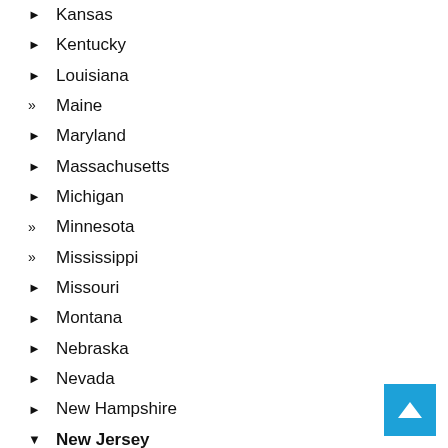▶ Kansas
▶ Kentucky
▶ Louisiana
» Maine
▶ Maryland
▶ Massachusetts
▶ Michigan
» Minnesota
» Mississippi
▶ Missouri
▶ Montana
▶ Nebraska
▶ Nevada
▶ New Hampshire
▼ New Jersey
» Newark
» New Mexico
▶ New York
▶ North Carolina